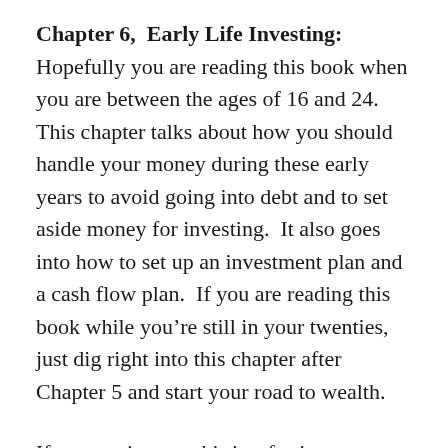Chapter 6,  Early Life Investing:  Hopefully you are reading this book when you are between the ages of 16 and 24.  This chapter talks about how you should handle your money during these early years to avoid going into debt and to set aside money for investing.  It also goes into how to set up an investment plan and a cash flow plan.  If you are reading this book while you're still in your twenties, just dig right into this chapter after Chapter 5 and start your road to wealth.
If you are in your thirties, forties, or fifties, read